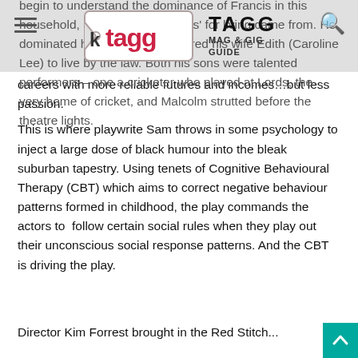TAGG MAG & GIG GUIDE
begin to understand the dominance of Francis in this household, and where the 'Rules' for living came from. He dominated his children and enfired his wife Edith (Caroline Lee) to live by the law. Both his sons were talented performers – one a cricketer who played at Lords, the very home of cricket, and Malcolm strutted before the theatre lights. Yet the father drove them to careers with more reliable futures and incomes…but less passion.
This is where playwrite Sam throws in some psychology to inject a large dose of black humour into the bleak suburban tapestry. Using tenets of Cognitive Behavioural Therapy (CBT) which aims to correct negative behaviour patterns formed in childhood, the play commands the actors to follow certain social rules when they play out their unconscious social response patterns. And the CBT is driving the play.
Director Kim Forrest brought in the Red Stitch...